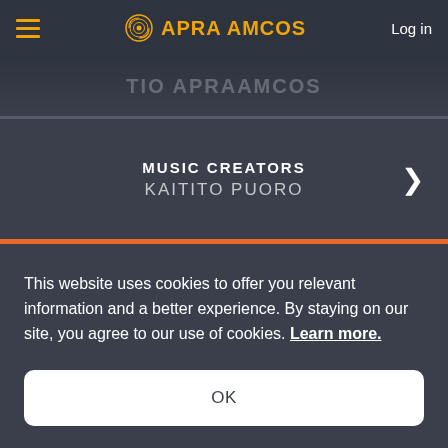APRA AMCOS  Log in
TIO APRAAMCOS
MUSIC CREATORS
KAITITO PUORO
This website uses cookies to offer you relevant information and a better experience. By staying on our site, you agree to our use of cookies. Learn more.
OK